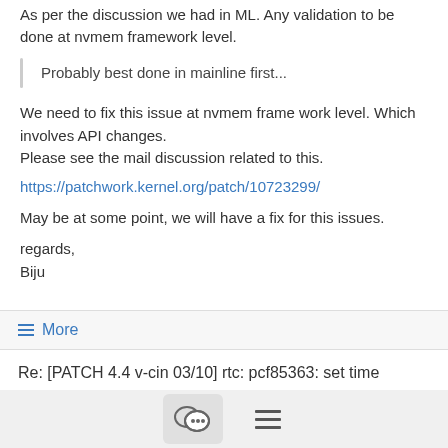As per the discussion we had in ML. Any validation to be done at nvmem framework level.
Probably best done in mainline first...
We need to fix this issue at nvmem frame work level. Which involves API changes.
Please see the mail discussion related to this.
https://patchwork.kernel.org/patch/10723299/
May be at some point, we will have a fix for this issues.
regards,
Biju
☰ More
Re: [PATCH 4.4 v-cin 03/10] rtc: pcf85363: set time